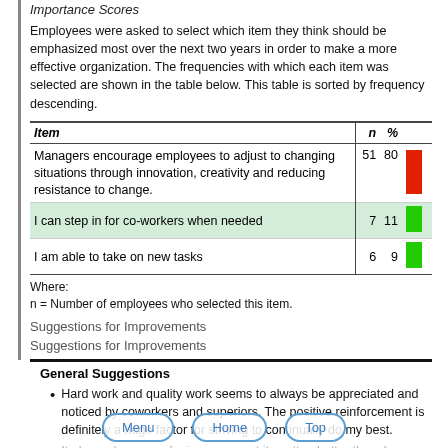Importance Scores
Employees were asked to select which item they think should be emphasized most over the next two years in order to make a more effective organization. The frequencies with which each item was selected are shown in the table below. This table is sorted by frequency descending.
| Item | n | % |
| --- | --- | --- |
| Managers encourage employees to adjust to changing situations through innovation, creativity and reducing resistance to change. | 51 | 80 |
| I can step in for co-workers when needed | 7 | 11 |
| I am able to take on new tasks | 6 | 9 |
Where:
n = Number of employees who selected this item.
Suggestions for Improvements
Suggestions for Improvements
General Suggestions
Hard work and quality work seems to always be appreciated and noticed by coworkers and superiors. The positive reinforcement is definitely a huge factor for striving to continually do my best.
It always has room for improvement its gotten better though.
There are things we need in the department that